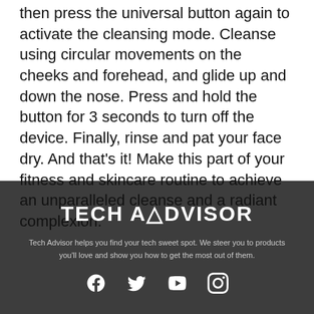then press the universal button again to activate the cleansing mode. Cleanse using circular movements on the cheeks and forehead, and glide up and down the nose. Press and hold the button for 3 seconds to turn off the device. Finally, rinse and pat your face dry. And that's it! Make this part of your fitness and skincare routine to achieve an unparalleled cleanse and a radiant complexion.
[Figure (logo): Tech Advisor logo in white bold text on dark grey background]
Tech Advisor helps you find your tech sweet spot. We steer you to products you'll love and show you how to get the most out of them.
[Figure (infographic): Social media icons: Facebook, Twitter, YouTube, Instagram in white on dark grey background]